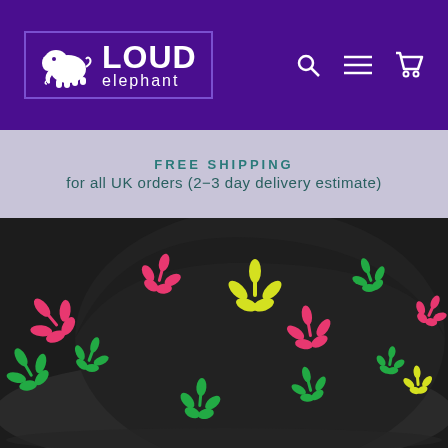[Figure (logo): Loud Elephant logo with white elephant silhouette in a purple-bordered box on dark purple header background, with navigation icons (search, menu, cart) on the right]
FREE SHIPPING
for all UK orders (2-3 day delivery estimate)
[Figure (photo): Close-up photo of a black bucket hat with colorful cannabis leaf pattern in pink/red, yellow, and green on a dark background]